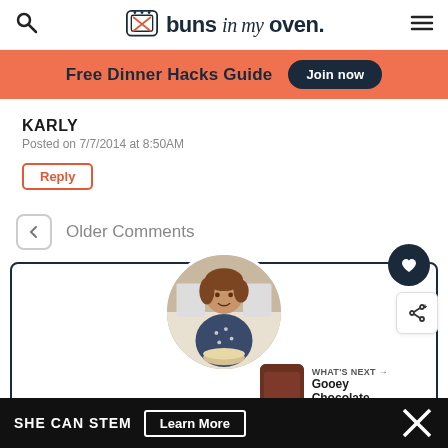buns in my oven
Free Dinner Hacks Guide  Join now
KARLY
Posted on 7/7/2014 at 8:50AM
Reply
← Older Comments
[Figure (photo): Blog card with circular profile photo of Karly holding a dish, share/heart buttons, and 'What's Next → Gooey Chocolate...' thumbnail. Partially visible 'HI, I'M KARLY!' heading at bottom.]
SHE CAN STEM  Learn More